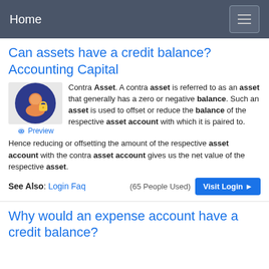Home
Can assets have a credit balance? Accounting Capital
[Figure (illustration): Icon showing a person with a lock, inside a dark blue circle, on a light gray checkered background]
Preview
Contra Asset. A contra asset is referred to as an asset that generally has a zero or negative balance. Such an asset is used to offset or reduce the balance of the respective asset account with which it is paired to. Hence reducing or offsetting the amount of the respective asset account with the contra asset account gives us the net value of the respective asset.
See Also: Login Faq
(65 People Used)
Visit Login
Why would an expense account have a credit balance?